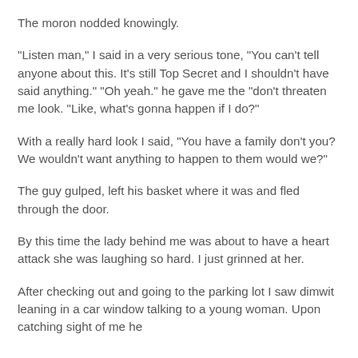The moron nodded knowingly.
"Listen man," I said in a very serious tone, "You can't tell anyone about this. It's still Top Secret and I shouldn't have said anything." "Oh yeah." he gave me the "don't threaten me look. "Like, what's gonna happen if I do?"
With a really hard look I said, "You have a family don't you? We wouldn't want anything to happen to them would we?"
The guy gulped, left his basket where it was and fled through the door.
By this time the lady behind me was about to have a heart attack she was laughing so hard. I just grinned at her.
After checking out and going to the parking lot I saw dimwit leaning in a car window talking to a young woman. Upon catching sight of me he